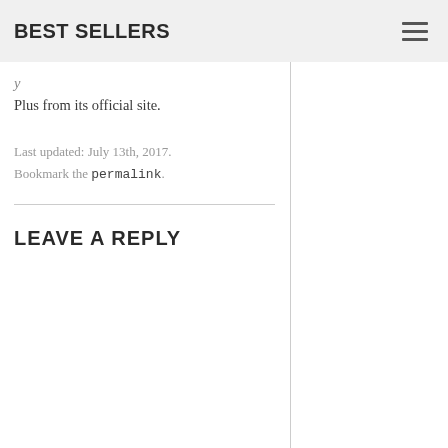BEST SELLERS
Plus from its official site.
Last updated: July 13th, 2017. Bookmark the permalink.
LEAVE A REPLY